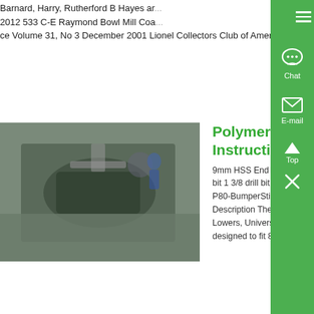Barnard, Harry, Rutherford B Hayes ar... 2012 533 C-E Raymond Bowl Mill Coa... ce Volume 31, No 3 December 2001 Lionel Collectors Club of America.
[Figure (photo): Industrial machinery photo, large metal part being machined in a factory]
Polymer80 RJ556U Build Instructions - Know More
9mm HSS End Mill P80-UnivEndMill 1 bit 1 3/8 drill bit 1 5/32 drill bit 1 P80 St... P80-BumperSticker 1 Universal Jig Pro... Description The RJ556U Rifle Jig for 5... Lowers, Universal or Universal Jig Sys... designed to fit 80 AR15 lower receivers...
[Figure (photo): Photo of rubber/gasket parts, rolls and hardware components on white background]
Raymond Coal Mill Diagr... Know More
Raymond Coal Mill Diagrams And Diag... Printable-ball Mill Coal Grinding With D... Coal grinder diagrams rod mill grinding... china flow diagram for coal working in c... plant pdf industrial milling equipments a...